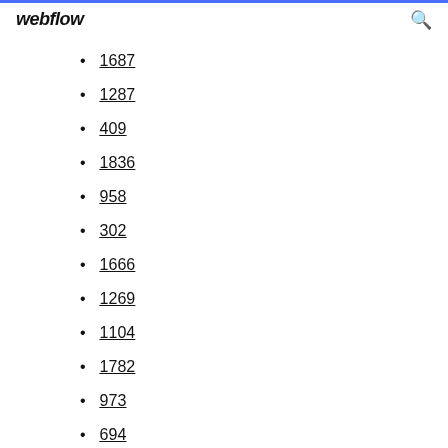webflow
1687
1287
409
1836
958
302
1666
1269
1104
1782
973
694